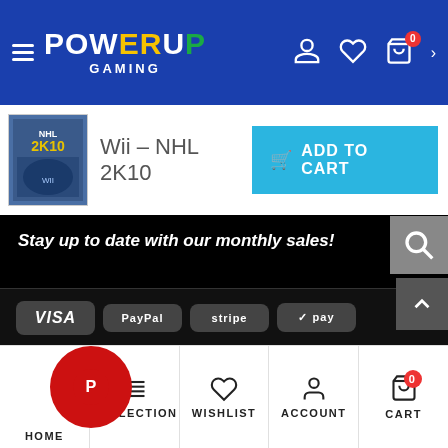[Figure (screenshot): PowerUp Gaming website header with blue navigation bar, logo, hamburger menu, user/wishlist/cart icons]
Wii – NHL 2K10
ADD TO CART
Stay up to date with our monthly sales!
Newsletter
Email Address
Subscribe
HOME
COLLECTION
WISHLIST
ACCOUNT
CART